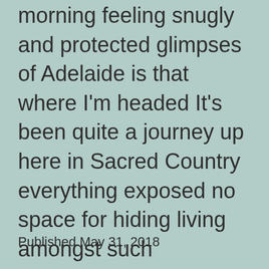morning feeling snugly and protected glimpses of Adelaide is that where I'm headed It's been quite a journey up here in Sacred Country everything exposed no space for hiding living amongst such extraordinary beauty Nature's Magick is real and present there are many layers they go deep below the surface so… Continue reading
Published May 31, 2018